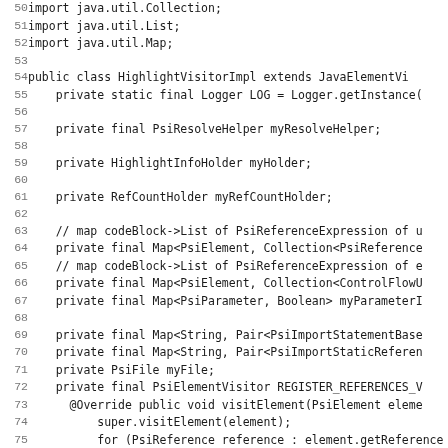Java source code lines 50-82 showing HighlightVisitorImpl class definition with import statements, field declarations, and inner PsiElementVisitor anonymous class